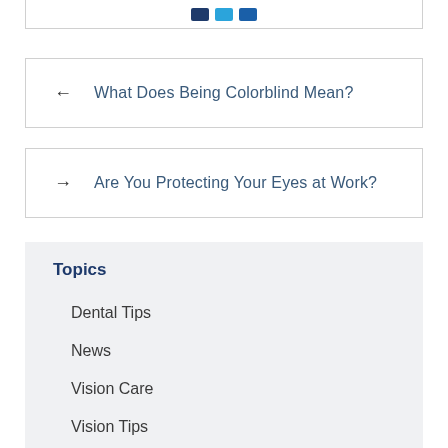[Figure (other): Social media share icons (dark blue, light blue, mid blue) at top of page]
← What Does Being Colorblind Mean?
→ Are You Protecting Your Eyes at Work?
Topics
Dental Tips
News
Vision Care
Vision Tips